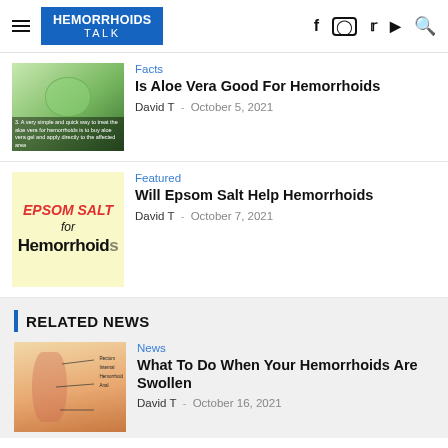HEMORRHOIDS TALK
[Figure (photo): Aloe vera plant with gel jar thumbnail]
Facts
Is Aloe Vera Good For Hemorrhoids
David T - October 5, 2021
[Figure (photo): Epsom Salt for Hemorrhoids text image thumbnail]
Featured
Will Epsom Salt Help Hemorrhoids
David T - October 7, 2021
RELATED NEWS
[Figure (illustration): Anatomical illustration of hemorrhoids/swollen area]
News
What To Do When Your Hemorrhoids Are Swollen
David T - October 16, 2021